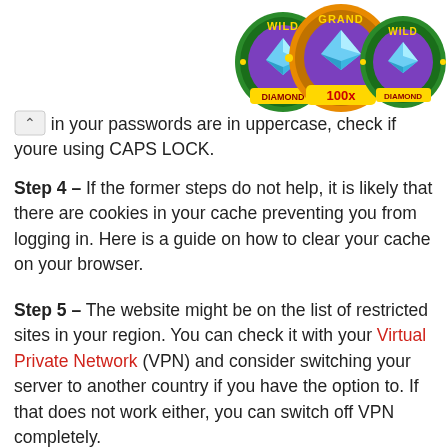[Figure (logo): Three circular casino badge logos with diamonds, labeled WILD, GRAND 100x, and WILD on a green and orange background]
in your passwords are in uppercase, check if youre using CAPS LOCK.
Step 4 – If the former steps do not help, it is likely that there are cookies in your cache preventing you from logging in. Here is a guide on how to clear your cache on your browser.
Step 5 – The website might be on the list of restricted sites in your region. You can check it with your Virtual Private Network (VPN) and consider switching your server to another country if you have the option to. If that does not work either, you can switch off VPN completely.